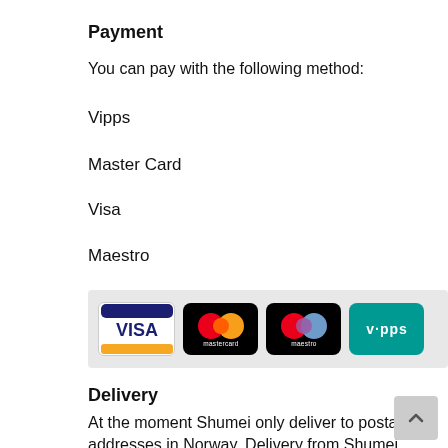Payment
You can pay with the following method:
Vipps
Master Card
Visa
Maestro
[Figure (logo): Payment method logos: Visa, Mastercard, Maestro, Vipps]
Delivery
At the moment Shumei only deliver to postal addresses in Norway. Delivery from Shumei